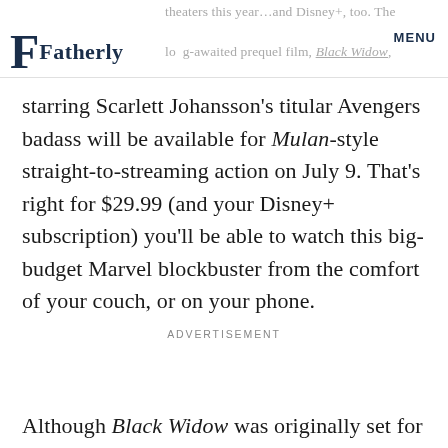theaters this year…and Disney+, too. The long-awaited prequel film, Black Widow,
starring Scarlett Johansson's titular Avengers badass will be available for Mulan-style straight-to-streaming action on July 9. That's right for $29.99 (and your Disney+ subscription) you'll be able to watch this big-budget Marvel blockbuster from the comfort of your couch, or on your phone.
ADVERTISEMENT
Although Black Widow was originally set for a